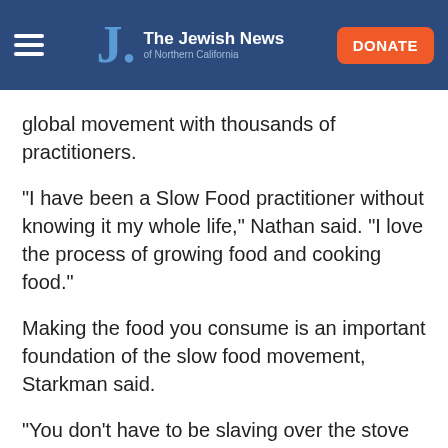The Jewish News of Northern California
global movement with thousands of practitioners.
“I have been a Slow Food practitioner without knowing it my whole life,” Nathan said. “I love the process of growing food and cooking food.”
Making the food you consume is an important foundation of the slow food movement, Starkman said.
“You don’t have to be slaving over the stove for hours cooking beans — it can be something simple.”
Starkman grew up attending Congregation B’nai